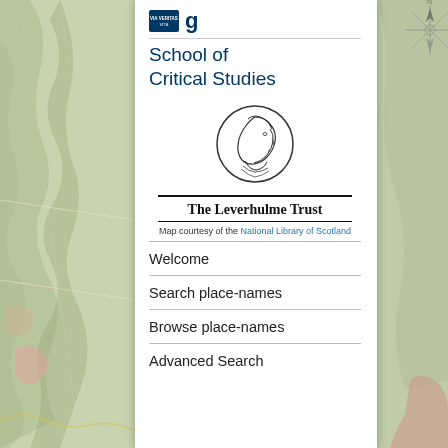[Figure (illustration): Background map image showing an old coloured map of Scotland/Britain with roads, towns and coastline visible in muted greens, pinks and yellows. A compass rose is partially visible in the upper right.]
[Figure (logo): University of Glasgow crest/logo small badge in blue with text 'VIA VERITAS VITA']
School of Critical Studies
[Figure (illustration): The Leverhulme Trust logo: a circular medallion with a profile portrait of a person in relief, with a double horizontal rule above the text 'The Leverhulme Trust']
Map courtesy of the National Library of Scotland
Welcome
Search place-names
Browse place-names
Advanced Search